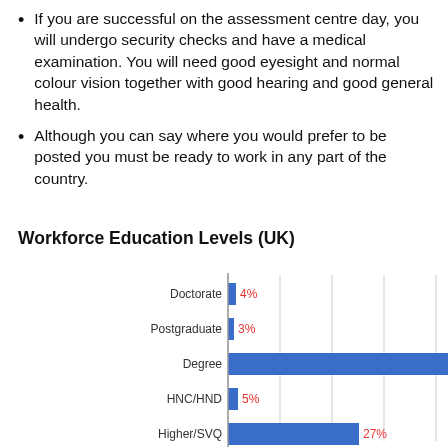If you are successful on the assessment centre day, you will undergo security checks and have a medical examination. You will need good eyesight and normal colour vision together with good hearing and good general health.
Although you can say where you would prefer to be posted you must be ready to work in any part of the country.
Workforce Education Levels (UK)
[Figure (bar-chart): Workforce Education Levels (UK)]